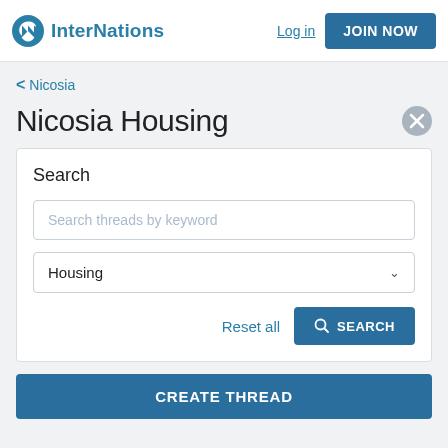InterNations | Log in | JOIN NOW
< Nicosia
Nicosia Housing
Search
Search threads by keyword
Housing
Reset all  SEARCH
CREATE THREAD